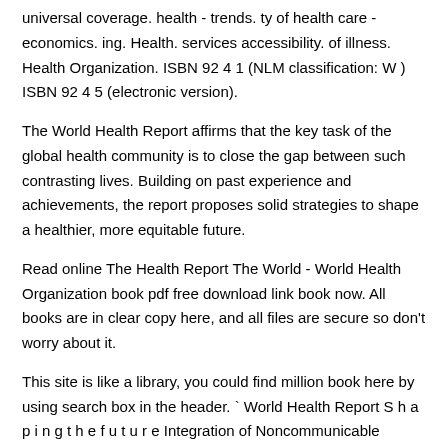universal coverage. health - trends. ty of health care - economics. ing. Health. services accessibility. of illness. Health Organization. ISBN 92 4 1 (NLM classification: W ) ISBN 92 4 5 (electronic version).
The World Health Report affirms that the key task of the global health community is to close the gap between such contrasting lives. Building on past experience and achievements, the report proposes solid strategies to shape a healthier, more equitable future.
Read online The Health Report The World - World Health Organization book pdf free download link book now. All books are in clear copy here, and all files are secure so don't worry about it.
This site is like a library, you could find million book here by using search box in the header. ` World Health Report S h a p i n g t h e f u t u r e Integration of Noncommunicable Diseases into PHC in low-resource settings Lessons learned Dr Shanthi Mendis Chronic Disease Prevention.
Get this from a library. World Health Report a Vision for Global Health. Shaping the Future. [World Health Organization] -- The World Health